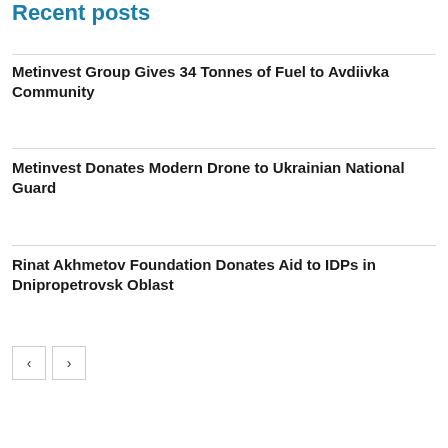Recent posts
Metinvest Group Gives 34 Tonnes of Fuel to Avdiivka Community
Metinvest Donates Modern Drone to Ukrainian National Guard
Rinat Akhmetov Foundation Donates Aid to IDPs in Dnipropetrovsk Oblast